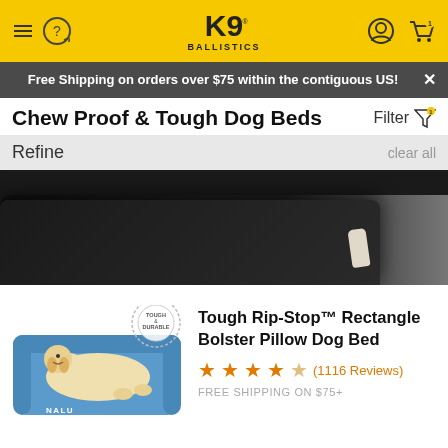K9 Ballistics
Free Shipping on orders over $75 within the contiguous US!
Chew Proof & Tough Dog Beds
Filter
Refine
clear all
[Figure (photo): Close-up photo of a dark chew-proof dog bed on a concrete surface, with a dog's paw visible in the background.]
[Figure (photo): Product photo of a blue rectangle bolster pillow dog bed with a golden retriever laying on it labeled NALU, with a Tough & Durable badge.]
Tough Rip-Stop™ Rectangle Bolster Pillow Dog Bed
★★★★☆ (1116 Reviews)
FREE SHIPPING ON $75+